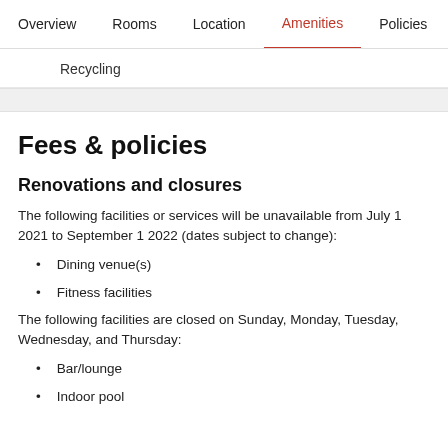Overview   Rooms   Location   Amenities   Policies   Reviews
Recycling
Fees & policies
Renovations and closures
The following facilities or services will be unavailable from July 1 2021 to September 1 2022 (dates subject to change):
Dining venue(s)
Fitness facilities
The following facilities are closed on Sunday, Monday, Tuesday, Wednesday, and Thursday:
Bar/lounge
Indoor pool